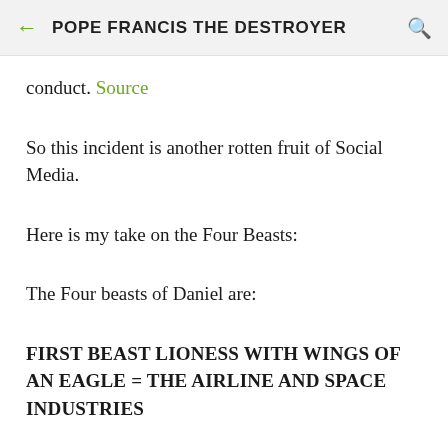POPE FRANCIS THE DESTROYER
conduct. Source
So this incident is another rotten fruit of Social Media.
Here is my take on the Four Beasts:
The Four beasts of Daniel are:
FIRST BEAST LIONESS WITH WINGS OF AN EAGLE = THE AIRLINE AND SPACE INDUSTRIES